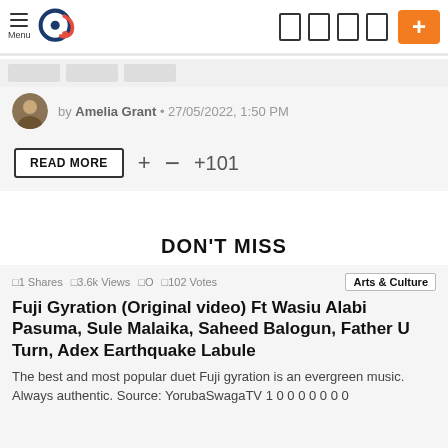Menu | [logo] | [nav icons] | [+ button]
by Amelia Grant • 27/05/2022, 1:50 PM
READ MORE + − +101
DON'T MISS
[]1 Shares  []3.6k Views  []O  []102 Votes  Arts & Culture
Fuji Gyration (Original video) Ft Wasiu Alabi Pasuma, Sule Malaika, Saheed Balogun, Father U Turn, Adex Earthquake Labule
The best and most popular duet Fuji gyration is an evergreen music. Always authentic. Source: YorubaSwagaTV 1 0 0 0 0 0 0 0